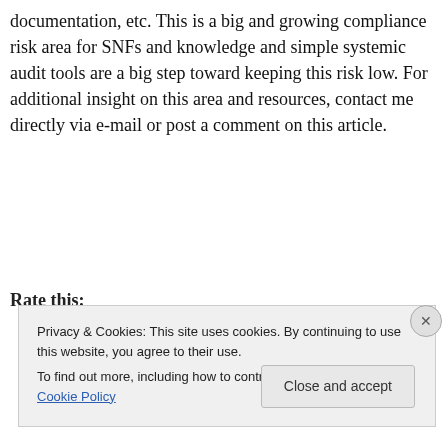documentation, etc.  This is a big and growing compliance risk area for SNFs and knowledge and simple systemic audit tools are a big step toward keeping this risk low.  For additional insight on this area and resources, contact me directly via e-mail or post a comment on this article.
Rate this:
Privacy & Cookies: This site uses cookies. By continuing to use this website, you agree to their use.
To find out more, including how to control cookies, see here: Cookie Policy